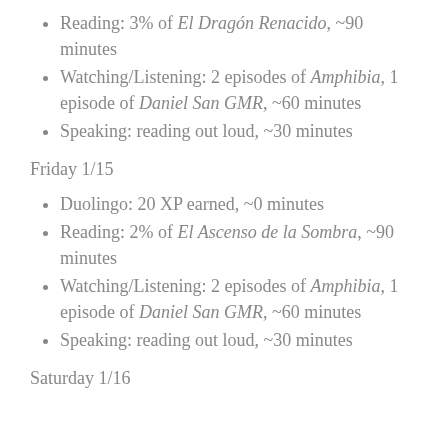Reading: 3% of El Dragón Renacido, ~90 minutes
Watching/Listening: 2 episodes of Amphibia, 1 episode of Daniel San GMR, ~60 minutes
Speaking: reading out loud, ~30 minutes
Friday 1/15
Duolingo: 20 XP earned, ~0 minutes
Reading: 2% of El Ascenso de la Sombra, ~90 minutes
Watching/Listening: 2 episodes of Amphibia, 1 episode of Daniel San GMR, ~60 minutes
Speaking: reading out loud, ~30 minutes
Saturday 1/16